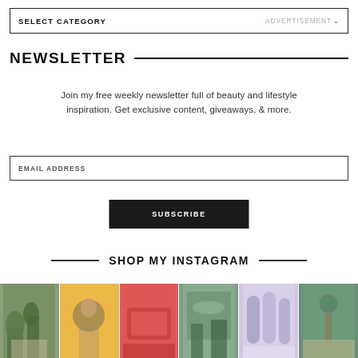SELECT CATEGORY
NEWSLETTER
Join my free weekly newsletter full of beauty and lifestyle inspiration. Get exclusive content, giveaways, & more.
EMAIL ADDRESS
SUBSCRIBE
SHOP MY INSTAGRAM
[Figure (photo): Row of six Instagram photos showing lifestyle content including outdoor scene, woman in floral outfit, pink couch, outdoor dining, purple bottles, and outdoor hanging light]